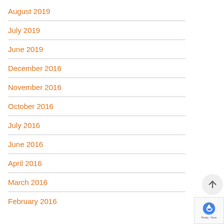August 2019
July 2019
June 2019
December 2016
November 2016
October 2016
July 2016
June 2016
April 2016
March 2016
February 2016